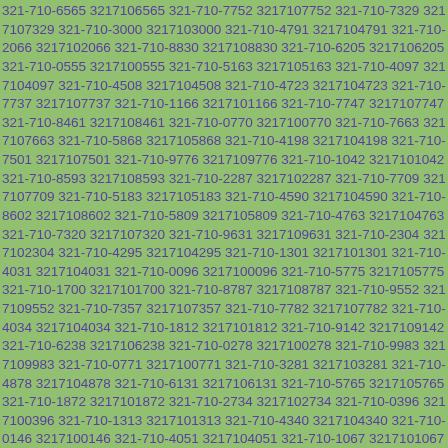321-710-6565 3217106565 321-710-7752 3217107752 321-710-7329 3217107329 321-710-3000 3217103000 321-710-4791 3217104791 321-710-2066 3217102066 321-710-8830 3217108830 321-710-6205 3217106205 321-710-0555 3217100555 321-710-5163 3217105163 321-710-4097 3217104097 321-710-4508 3217104508 321-710-4723 3217104723 321-710-7737 3217107737 321-710-1166 3217101166 321-710-7747 3217107747 321-710-8461 3217108461 321-710-0770 3217100770 321-710-7663 3217107663 321-710-5868 3217105868 321-710-4198 3217104198 321-710-7501 3217107501 321-710-9776 3217109776 321-710-1042 3217101042 321-710-8593 3217108593 321-710-2287 3217102287 321-710-7709 3217107709 321-710-5183 3217105183 321-710-4590 3217104590 321-710-8602 3217108602 321-710-5809 3217105809 321-710-4763 3217104763 321-710-7320 3217107320 321-710-9631 3217109631 321-710-2304 3217102304 321-710-4295 3217104295 321-710-1301 3217101301 321-710-4031 3217104031 321-710-0096 3217100096 321-710-5775 3217105775 321-710-1700 3217101700 321-710-8787 3217108787 321-710-9552 3217109552 321-710-7357 3217107357 321-710-7782 3217107782 321-710-4034 3217104034 321-710-1812 3217101812 321-710-9142 3217109142 321-710-6238 3217106238 321-710-0278 3217100278 321-710-9983 3217109983 321-710-0771 3217100771 321-710-3281 3217103281 321-710-4878 3217104878 321-710-6131 3217106131 321-710-5765 3217105765 321-710-1872 3217101872 321-710-2734 3217102734 321-710-0396 3217100396 321-710-1313 3217101313 321-710-4340 3217104340 321-710-0146 3217100146 321-710-4051 3217104051 321-710-1067 3217101067 321-710-6841 3217106841